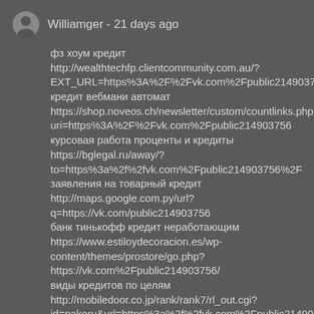Williamger - 21 days ago
фз хоум кредит
http://wealthtechfp.clientcommunity.com.au/?EXT_URL=https%3A%2F%2Fvk.com%2Fpublic214903756&MI
кредит вебмани автомат
https://shop.noveos.ch/newsletter/custom/countlinks.php?uri=https%3A%2F%2Fvk.com%2Fpublic214903756
курсовая работа проценты и кредиты
https://bglegal.ru/away/?to=https%3a%2f%2fvk.com%2Fpublic214903756%2F
заявления на товарный кредит
http://maps.google.com.py/url?q=https://vk.com/public214903756
банк тинькофф кредит неработающим
https://www.estiloydecoracion.es/wp-content/themes/prostore/go.php?https://vk.com%2Fpublic214903756/
виды кредитов по целям
http://mobiledoor.co.jp/rank/rank7/rl_out.cgi?id=pakeru&url=https%3a%2f%2fvk.com%2Fpublic214903756